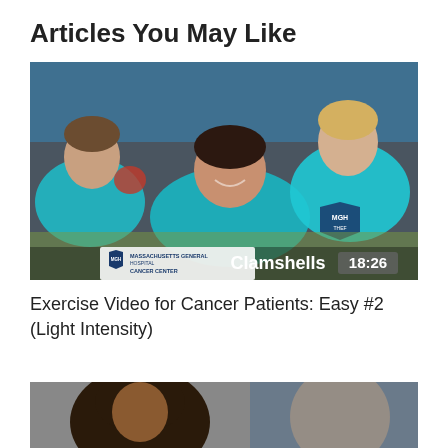Articles You May Like
[Figure (photo): Video thumbnail showing three women in teal MGH shirts doing clamshell exercise on gym floor. Text overlay reads 'Clamshells 18:26' and MGH Cancer Center logo in bottom left.]
Exercise Video for Cancer Patients: Easy #2 (Light Intensity)
[Figure (photo): Partial thumbnail of a second article, showing two people, cropped at bottom of page.]